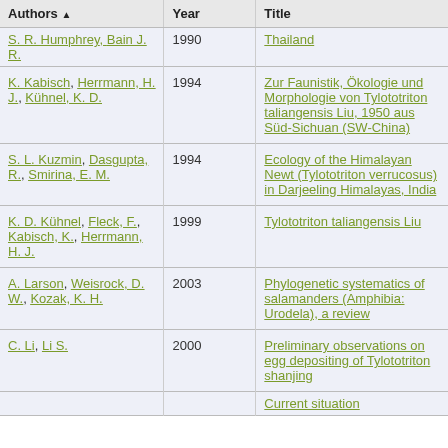| Authors | Year | Title |
| --- | --- | --- |
| S. R. Humphrey, Bain J. R. | 1990 | Thailand |
| K. Kabisch, Herrmann, H. J., Kühnel, K. D. | 1994 | Zur Faunistik, Ökologie und Morphologie von Tylototriton taliangensis Liu, 1950 aus Süd-Sichuan (SW-China) |
| S. L. Kuzmin, Dasgupta, R., Smirina, E. M. | 1994 | Ecology of the Himalayan Newt (Tylototriton verrucosus) in Darjeeling Himalayas, India |
| K. D. Kühnel, Fleck, F., Kabisch, K., Herrmann, H. J. | 1999 | Tylototriton taliangensis Liu |
| A. Larson, Weisrock, D. W., Kozak, K. H. | 2003 | Phylogenetic systematics of salamanders (Amphibia: Urodela), a review |
| C. Li, Li S. | 2000 | Preliminary observations on egg depositing of Tylototriton shanjing |
|  |  | Current situation |